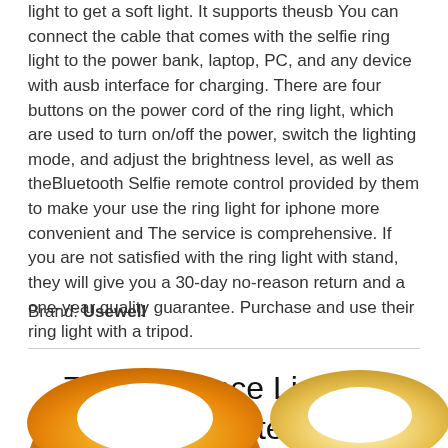light to get a soft light. It supports theusb You can connect the cable that comes with the selfie ring light to the power bank, laptop, PC, and any device with ausb interface for charging. There are four buttons on the power cord of the ring light, which are used to turn on/off the power, switch the lighting mode, and adjust the brightness level, as well as theBluetooth Selfie remote control provided by them to make your use the ring light for iphone more convenient and The service is comprehensive. If you are not satisfied with the ring light with stand, they will give you a 30-day no-reason return and a one-year quality guarantee. Purchase and use their ring light with a tripod.
Brand: Usewell
7. Conference Lighting Computer Meetings Ringlights
[Figure (photo): Two ring lights partially visible at the bottom of the page — one on the left with an orange/gold gradient, one on the right with a lighter cream/gold gradient]